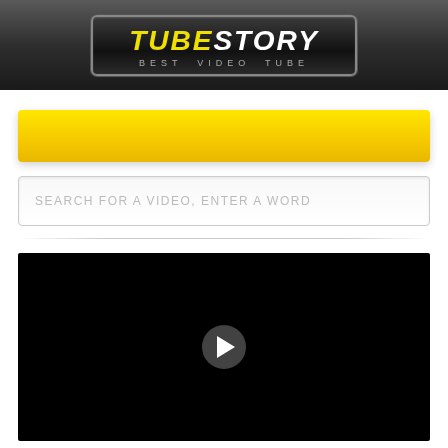[Figure (logo): TubeStory logo — 'TUBE' in yellow italic, 'STORY' in white italic, subtitle 'BEST VIDEO TUBE' in gray, on a dark rounded rectangle with silver border, set in a dark gray header bar]
[Figure (other): Yellow/gold banner bar, wide rectangular button]
SEARCH FOR A VIDEO, ENTER A WORD
[Figure (screenshot): Black video player area with a circular gray play button in the center]